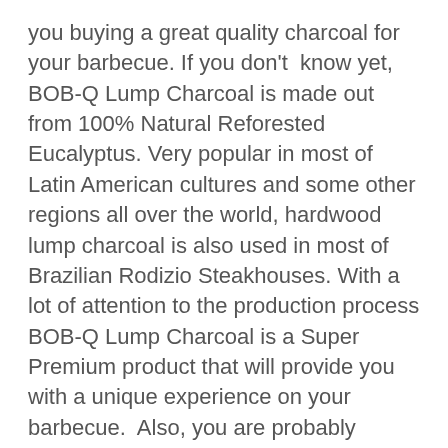you buying a great quality charcoal for your barbecue. If you don't know yet, BOB-Q Lump Charcoal is made out from 100% Natural Reforested Eucalyptus. Very popular in most of Latin American cultures and some other regions all over the world, hardwood lump charcoal is also used in most of Brazilian Rodizio Steakhouses. With a lot of attention to the production process BOB-Q Lump Charcoal is a Super Premium product that will provide you with a unique experience on your barbecue.  Also, you are probably wondering why you should choose BOB-Q...
Read more